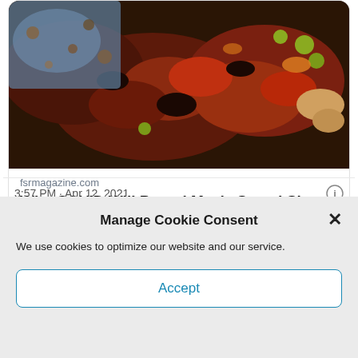[Figure (photo): Close-up food photo showing grilled/barbecued meat with garnishes, dark rich colors with reds and greens]
fsrmagazine.com
Why COVID Will Propel Mac's Speed Shop to New Heights
3:57 PM · Apr 12, 2021
1  See the latest COVID-19 information on ...
Manage Cookie Consent
We use cookies to optimize our website and our service.
Accept